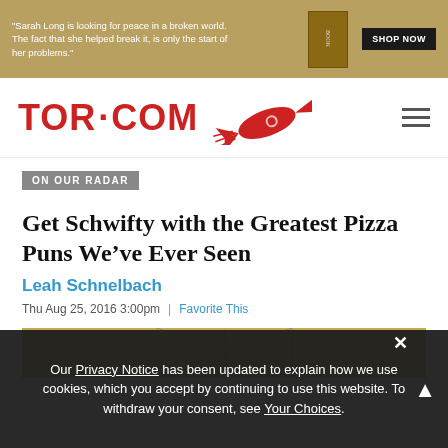[Figure (screenshot): Advertisement banner with golden/tan background. Text: '"Sarah Long is looking for peace in a broken world. The fact that she helped break it, is only the start of her problems."' Book image on right with 'SHOP NOW' button.]
[Figure (logo): TOR.COM logo in red with rocket ship illustration to the right, and hamburger menu icon on far right]
ON OUR RADAR
Get Schwifty with the Greatest Pizza Puns We've Ever Seen
Leah Schnelbach
Thu Aug 25, 2016 3:00pm  |  Favorite This
[Figure (photo): Bottom portion of a photo showing what appears to be pizza boxes with a cardboard/tan color]
Our Privacy Notice has been updated to explain how we use cookies, which you accept by continuing to use this website. To withdraw your consent, see Your Choices.